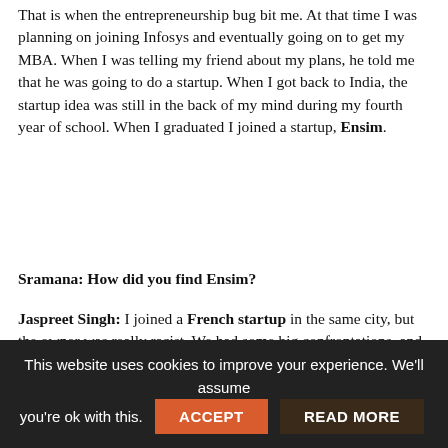That is when the entrepreneurship bug bit me. At that time I was planning on joining Infosys and eventually going on to get my MBA. When I was telling my friend about my plans, he told me that he was going to do a startup. When I got back to India, the startup idea was still in the back of my mind during my fourth year of school. When I graduated I joined a startup, Ensim.
Sramana: How did you find Ensim?
Jaspreet Singh: I joined a French startup in the same city, but the owner was really racist. We had some big confrontations, and I left within a month. I went searching for a job and I met the VP of business development for Ensim. In my IIT days I was the president of the Student Union. I was technically good, but also had social skills so he offered me a job. I loved working in a startup and I became increasingly interested in security and storage. I started working in open source projects.
This segment is part 1 in the series : India's Flagship Global Product Story: Course CEO Jaspreet Singh
This website uses cookies to improve your experience. We'll assume you're ok with this. ACCEPT READ MORE